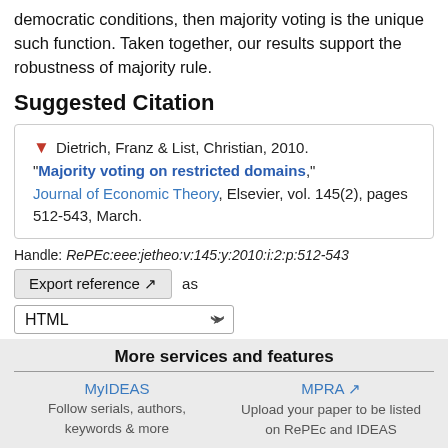democratic conditions, then majority voting is the unique such function. Taken together, our results support the robustness of majority rule.
Suggested Citation
Dietrich, Franz & List, Christian, 2010. "Majority voting on restricted domains," Journal of Economic Theory, Elsevier, vol. 145(2), pages 512-543, March.
Handle: RePEc:eee:jetheo:v:145:y:2010:i:2:p:512-543
Export reference as HTML
More services and features
MyIDEAS Follow serials, authors, keywords & more
MPRA Upload your paper to be listed on RePEc and IDEAS